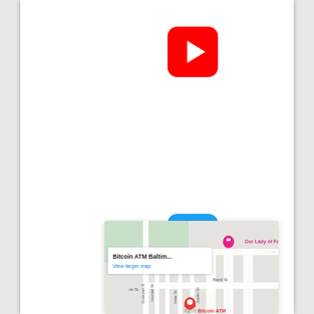[Figure (logo): YouTube logo — red rounded square with white play button triangle]
[Figure (logo): Twitter logo — blue rounded square with white bird icon]
[Figure (map): Google Maps screenshot showing Bitcoin ATM Baltimore location popup with 'View larger map' link, Clay Hill Public Charter School, streets including Hornel St, Imla St, Joplin St, Bank St, Gusryan St, and a pink map pin for 'Our Lady of Fat...' and a red Bitcoin ATM pin at bottom]